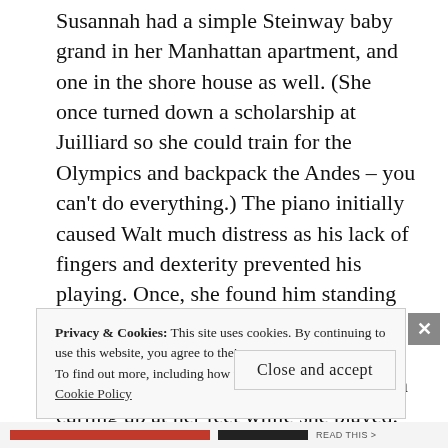Susannah had a simple Steinway baby grand in her Manhattan apartment, and one in the shore house as well. (She once turned down a scholarship at Juilliard so she could train for the Olympics and backpack the Andes – you can't do everything.) The piano initially caused Walt much distress as his lack of fingers and dexterity prevented his playing. Once, she found him standing on the piano bench, paws on the keyboard, clinking the keys and howling. He eventually took pleasure in curling up at her feet while she played.
Privacy & Cookies: This site uses cookies. By continuing to use this website, you agree to their use.
To find out more, including how to control cookies, see here: Cookie Policy
Close and accept